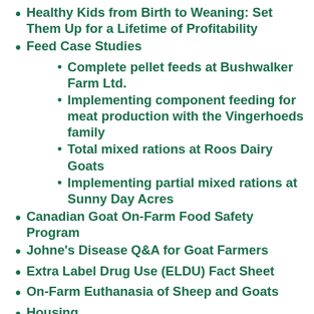Healthy Kids from Birth to Weaning: Set Them Up for a Lifetime of Profitability
Feed Case Studies
Complete pellet feeds at Bushwalker Farm Ltd.
Implementing component feeding for meat production with the Vingerhoeds family
Total mixed rations at Roos Dairy Goats
Implementing partial mixed rations at Sunny Day Acres
Canadian Goat On-Farm Food Safety Program
Johne's Disease Q&A for Goat Farmers
Extra Label Drug Use (ELDU) Fact Sheet
On-Farm Euthanasia of Sheep and Goats
Housing
Bedding Packs in Goat Barns